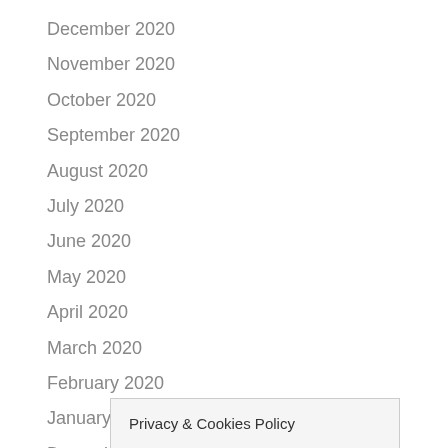December 2020
November 2020
October 2020
September 2020
August 2020
July 2020
June 2020
May 2020
April 2020
March 2020
February 2020
January 2020
December 2019
Novemb…
October…
Privacy & Cookies Policy